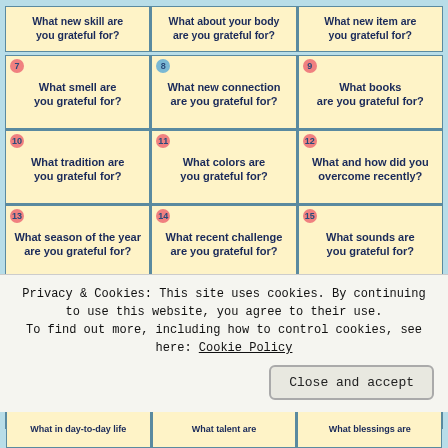[Figure (infographic): Gratitude journal prompt grid showing numbered cells with questions for reflection. Visible cells include prompts 7-21 and partial rows. A cookie consent banner overlays the bottom portion.]
Privacy & Cookies: This site uses cookies. By continuing to use this website, you agree to their use.
To find out more, including how to control cookies, see here: Cookie Policy
Close and accept